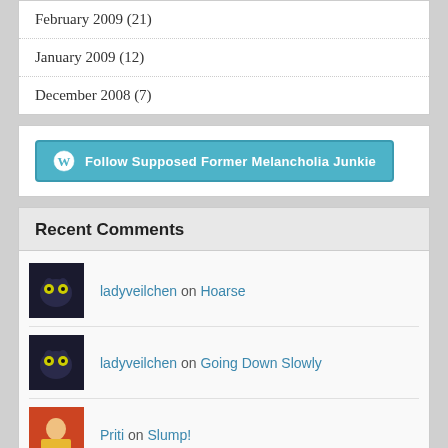February 2009 (21)
January 2009 (12)
December 2008 (7)
[Figure (other): Follow Supposed Former Melancholia Junkie button with WordPress logo]
Recent Comments
ladyveilchen on Hoarse
ladyveilchen on Going Down Slowly
Priti on Slump!
wordsandcoffee1 on Hoarse